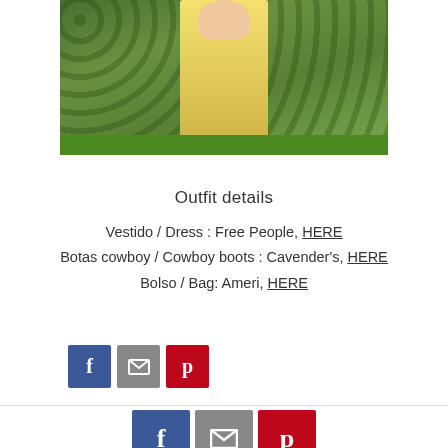[Figure (photo): Woman in yellow dress standing in front of green hedge, arms crossed, holding a green strap/leash]
Outfit details
Vestido / Dress : Free People, HERE
Botas cowboy / Cowboy boots : Cavender's, HERE
Bolso / Bag: Ameri, HERE
[Figure (other): Social share buttons: Facebook, Email, Pinterest]
[Figure (other): Social share buttons bottom bar: Facebook, Email, Pinterest]